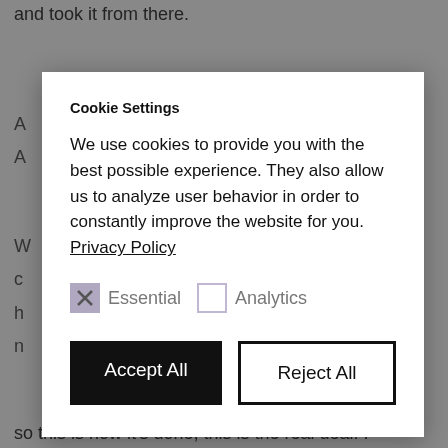and took it from there.
so this is how it's done, this is the real deal! I
[Figure (screenshot): Cookie Settings modal dialog overlay on a webpage. Contains title 'Cookie Settings', body text about cookies and privacy policy, Essential (checked) and Analytics (unchecked) checkboxes, and Accept All / Reject All buttons.]